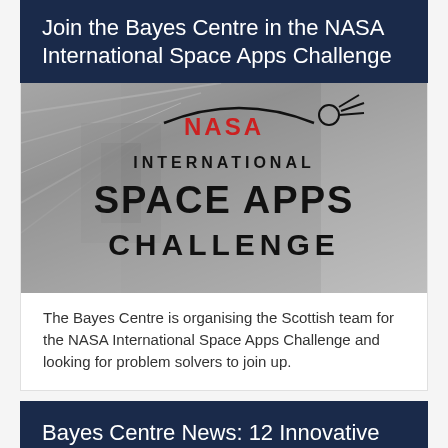Join the Bayes Centre in the NASA International Space Apps Challenge
[Figure (logo): NASA International Space Apps Challenge logo: arc over text reading NASA in red, INTERNATIONAL in black bold, SPACE APPS in large bold black, CHALLENGE in bold black, with a comet/meteor icon top right, over a grey aerial/satellite photograph background]
The Bayes Centre is organising the Scottish team for the NASA International Space Apps Challenge and looking for problem solvers to join up.
Bayes Centre News: 12 Innovative Start-Ups Selected for AI Accelerator